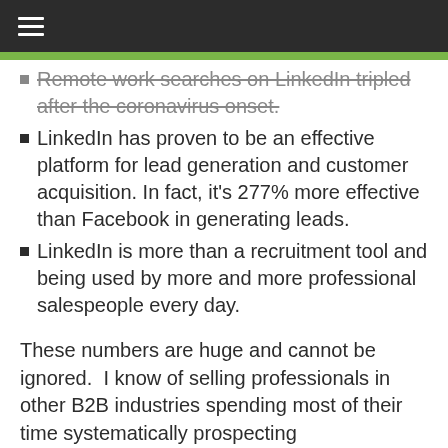Remote work searches on LinkedIn tripled after the coronavirus onset.
LinkedIn has proven to be an effective platform for lead generation and customer acquisition. In fact, it's 277% more effective than Facebook in generating leads.
LinkedIn is more than a recruitment tool and being used by more and more professional salespeople every day.
These numbers are huge and cannot be ignored.  I know of selling professionals in other B2B industries spending most of their time systematically prospecting